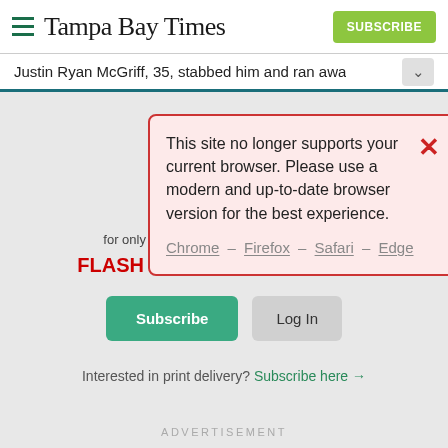Tampa Bay Times
Justin Ryan McGriff, 35, stabbed him and ran awa...
[Figure (screenshot): Browser warning modal: 'This site no longer supports your current browser. Please use a modern and up-to-date browser version for the best experience. Chrome – Firefox – Safari – Edge']
for only $14.75 $6.99 for the first month.
FLASH SALE: $3 for 3 months!
Subscribe | Log In
Interested in print delivery? Subscribe here →
ADVERTISEMENT